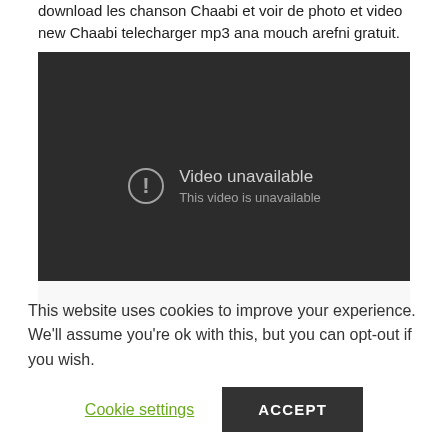download les chanson Chaabi et voir de photo et video new Chaabi telecharger mp3 ana mouch arefni gratuit.
[Figure (screenshot): Embedded video player showing 'Video unavailable - This video is unavailable' error message on a dark background.]
This website uses cookies to improve your experience. We'll assume you're ok with this, but you can opt-out if you wish.
Cookie settings
ACCEPT